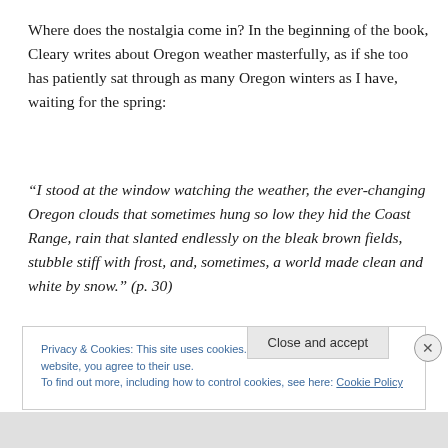Where does the nostalgia come in? In the beginning of the book, Cleary writes about Oregon weather masterfully, as if she too has patiently sat through as many Oregon winters as I have, waiting for the spring:
“I stood at the window watching the weather, the ever-changing Oregon clouds that sometimes hung so low they hid the Coast Range, rain that slanted endlessly on the bleak brown fields, stubble stiff with frost, and, sometimes, a world made clean and white by snow.” (p. 30)
Privacy & Cookies: This site uses cookies. By continuing to use this website, you agree to their use. To find out more, including how to control cookies, see here: Cookie Policy